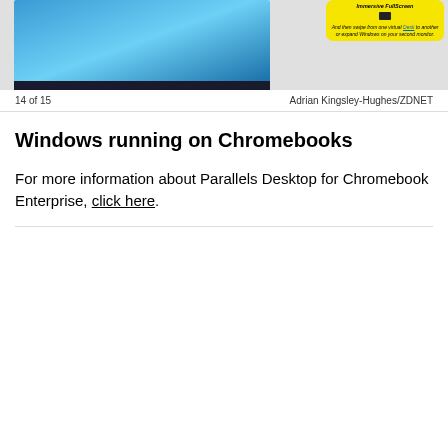[Figure (screenshot): Screenshot of Windows running on a Chromebook via Parallels Desktop, showing a Windows desktop with a yellow tooltip box explaining Immersive FullScreen and virtual Desk swiping features. Attribution: Adrian Kingsley-Hughes/ZDNET]
14 of 15  Adrian Kingsley-Hughes/ZDNET
Windows running on Chromebooks
For more information about Parallels Desktop for Chromebook Enterprise, click here.